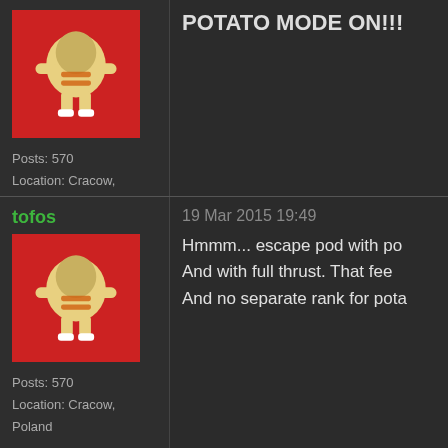POTATO MODE ON!!!
Posts: 570
Location: Cracow, Poland
tofos
[Figure (illustration): Forum avatar showing a cartoon character (space suit figure) on a red background]
Posts: 570
Location: Cracow, Poland
19 Mar 2015 19:49
Hmmm... escape pod with po
And with full thrust. That fee
And no separate rank for pota
bscotchseth
[Figure (illustration): Forum avatar showing a yellow smiley face with purple sunglasses on a dark background]
19 Mar 2015 19:52
Shhh, just go with it.